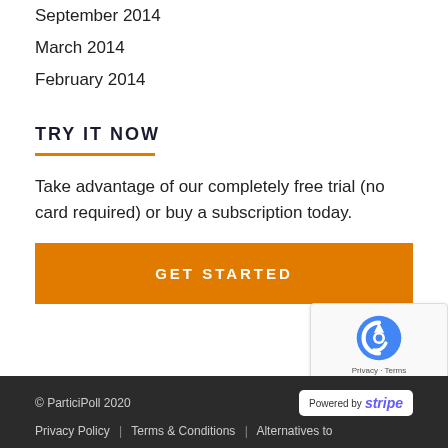September 2014
March 2014
February 2014
TRY IT NOW
Take advantage of our completely free trial (no card required) or buy a subscription today.
GET STARTED
[Figure (other): reCAPTCHA widget with logo, Privacy and Terms links]
© ParticiPoll 2020  Powered by Stripe  Privacy Policy | Terms & Conditions | Alternatives to